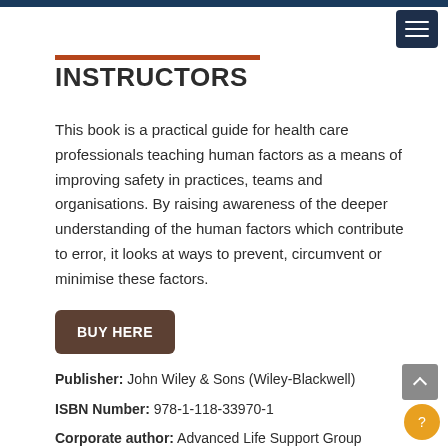INSTRUCTORS
This book is a practical guide for health care professionals teaching human factors as a means of improving safety in practices, teams and organisations. By raising awareness of the deeper understanding of the human factors which contribute to error, it looks at ways to prevent, circumvent or minimise these factors.
BUY HERE
Publisher: John Wiley & Sons (Wiley-Blackwell)
ISBN Number: 978-1-118-33970-1
Corporate author: Advanced Life Support Group